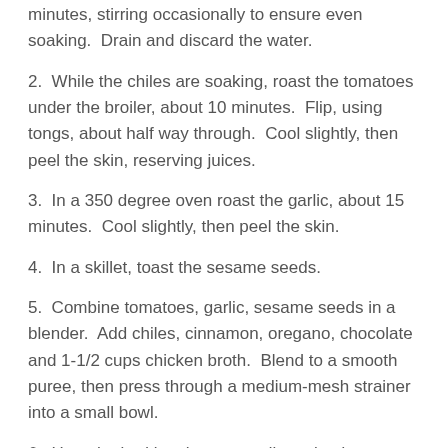minutes, stirring occasionally to ensure even soaking.  Drain and discard the water.
2.  While the chiles are soaking, roast the tomatoes under the broiler, about 10 minutes.  Flip, using tongs, about half way through.  Cool slightly, then peel the skin, reserving juices.
3.  In a 350 degree oven roast the garlic, about 15 minutes.  Cool slightly, then peel the skin.
4.  In a skillet, toast the sesame seeds.
5.  Combine tomatoes, garlic, sesame seeds in a blender.  Add chiles, cinnamon, oregano, chocolate and 1-1/2 cups chicken broth.  Blend to a smooth puree, then press through a medium-mesh strainer into a small bowl.
6.  Heat the lard in a heavy, medium-sized saucepan over medium-high heat.  When hot, add the mole in small amounts,